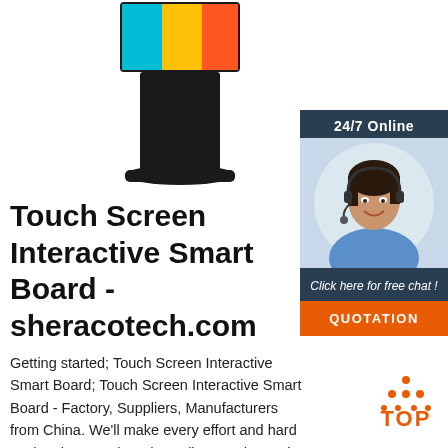[Figure (photo): Touch screen interactive kiosk display unit with colorful top screen and black pedestal stand]
[Figure (infographic): 24/7 Online sidebar with customer service representative photo, 'Click here for free chat!' text, and orange QUOTATION button]
Touch Screen Interactive Smart Board - sheracotech.com
Getting started; Touch Screen Interactive Smart Board; Touch Screen Interactive Smart Board - Factory, Suppliers, Manufacturers from China. We'll make every effort and hard work to be superb and excellent, and speed up our steps for standing inside the rank of intercontinental top-
[Figure (logo): Orange TOP badge with dot triangle above the word TOP]